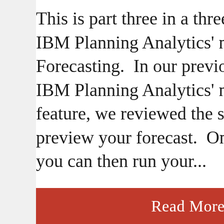This is part three in a three-part series on IBM Planning Analytics' new feature, Forecasting.  In our previous blog about IBM Planning Analytics' new Forecasting feature, we reviewed the steps required to preview your forecast.  Once previewed, you can then run your...
Read More